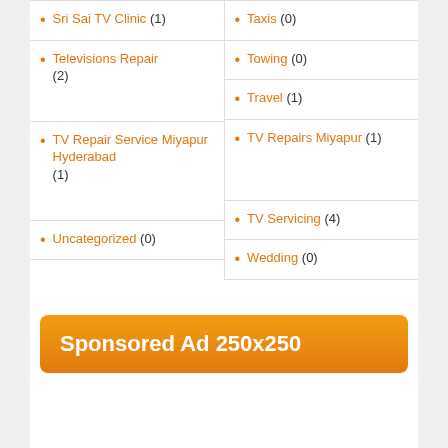Sri Sai TV Clinic (1)
Taxis (0)
Televisions Repair (2)
Towing (0)
Travel (1)
TV Repair Service Miyapur Hyderabad (1)
TV Repairs Miyapur (1)
TV Servicing (4)
Uncategorized (0)
Wedding (0)
[Figure (other): Sponsored Ad 250x250 orange banner]